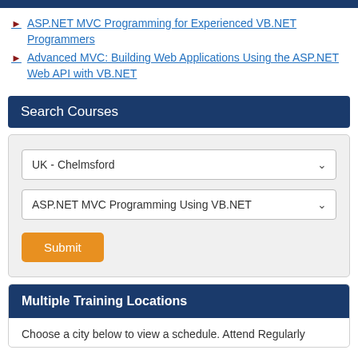ASP.NET MVC Programming for Experienced VB.NET Programmers
Advanced MVC: Building Web Applications Using the ASP.NET Web API with VB.NET
Search Courses
[Figure (screenshot): Search form with two dropdowns: 'UK - Chelmsford' and 'ASP.NET MVC Programming Using VB.NET', and a Submit button]
Multiple Training Locations
Choose a city below to view a schedule. Attend Regularly